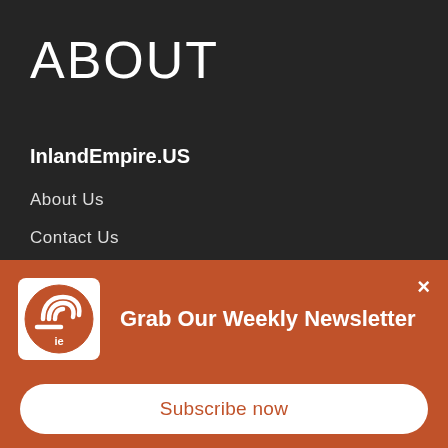ABOUT
InlandEmpire.US
About Us
Contact Us
Newsletters
Grab Our Weekly Newsletter
Subscribe now